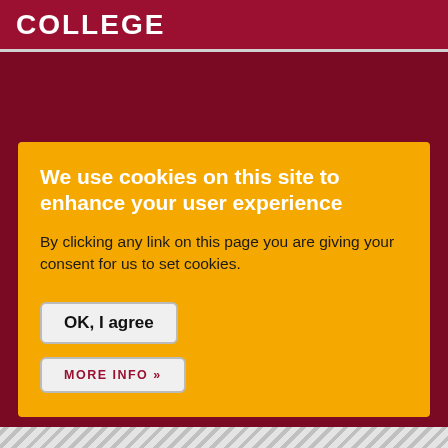COLLEGE
We use cookies on this site to enhance your user experience
By clicking any link on this page you are giving your consent for us to set cookies.
OK, I agree
MORE INFO »